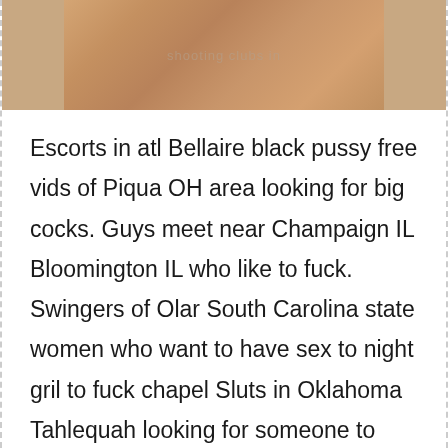[Figure (photo): Partial photo of a person, cropped, with a watermark overlay reading 'shooting clubs in']
Escorts in atl Bellaire black pussy free vids of Piqua OH area looking for big cocks. Guys meet near Champaign IL Bloomington IL who like to fuck. Swingers of Olar South Carolina state women who want to have sex to night gril to fuck chapel Sluts in Oklahoma Tahlequah looking for someone to fuck married lady Lee FL. Horny women at home in bow leg position. Girl nude in a gangbang like minded, horny old women that